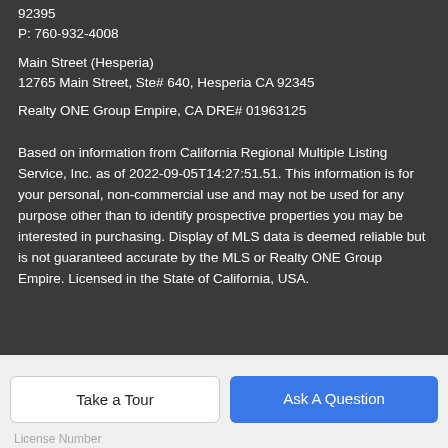92395
P: 760-932-4008
Main Street (Hesperia)
12765 Main Street, Ste# 640, Hesperia CA 92345
Realty ONE Group Empire, CA DRE# 01963125
Based on information from California Regional Multiple Listing Service, Inc. as of 2022-09-05T14:27:51.51. This information is for your personal, non-commercial use and may not be used for any purpose other than to identify prospective properties you may be interested in purchasing. Display of MLS data is deemed reliable but is not guaranteed accurate by the MLS or Realty ONE Group Empire. Licensed in the State of California, USA.
Take a Tour
Ask A Question